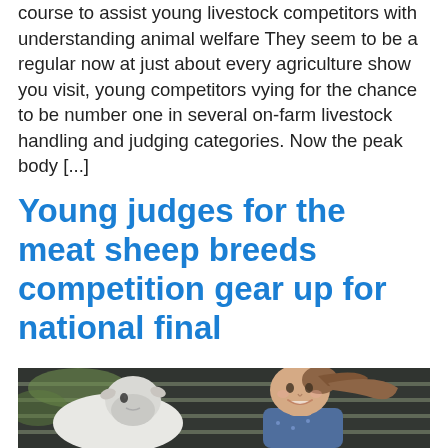course to assist young livestock competitors with understanding animal welfare They seem to be a regular now at just about every agriculture show you visit, young competitors vying for the chance to be number one in several on-farm livestock handling and judging categories. Now the peak body [...]
Young judges for the meat sheep breeds competition gear up for national final
[Figure (photo): A young woman smiling cheek-to-cheek with a white sheep, outdoors with dark fence panels in background.]